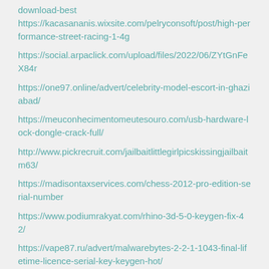download-best https://kacasananis.wixsite.com/pelryconsoft/post/high-performance-street-racing-1-4g
https://social.arpaclick.com/upload/files/2022/06/ZYtGnFeX84r
https://one97.online/advert/celebrity-model-escort-in-ghaziabad/
https://meuconhecimentomeutesouro.com/usb-hardware-lock-dongle-crack-full/
http://www.pickrecruit.com/jailbaitlittlegirlpicskissingjailbaitm63/
https://madisontaxservices.com/chess-2012-pro-edition-serial-number
https://www.podiumrakyat.com/rhino-3d-5-0-keygen-fix-42/
https://vape87.ru/advert/malwarebytes-2-2-1-1043-final-lifetime-licence-serial-key-keygen-hot/
https://blankbookingagency.com/?p=249196